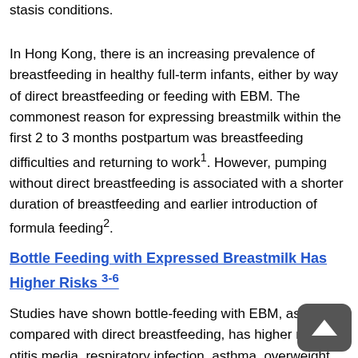stasis conditions.
In Hong Kong, there is an increasing prevalence of breastfeeding in healthy full-term infants, either by way of direct breastfeeding or feeding with EBM. The commonest reason for expressing breastmilk within the first 2 to 3 months postpartum was breastfeeding difficulties and returning to work¹. However, pumping without direct breastfeeding is associated with a shorter duration of breastfeeding and earlier introduction of formula feeding².
Bottle Feeding with Expressed Breastmilk Has Higher Risks 3-6
Studies have shown bottle-feeding with EBM, as compared with direct breastfeeding, has higher risk of otitis media, respiratory infection, asthma, overweight and obesity.